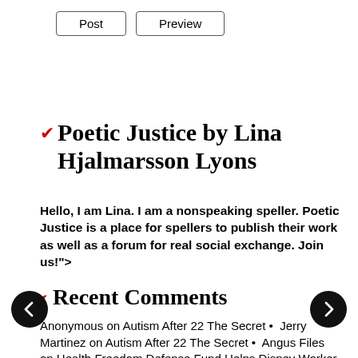Post   Preview
Poetic Justice by Lina Hjalmarsson Lyons
Hello, I am Lina. I am a nonspeaking speller. Poetic Justice is a place for spellers to publish their work as well as a forum for real social exchange. Join us!">
Recent Comments
Anonymous on Autism After 22 The Secret • Jerry Martinez on Autism After 22 The Secret • Angus Files on Health Freedom Defense Fund Helps Disney Worker Sue For Mandate Discrimination •